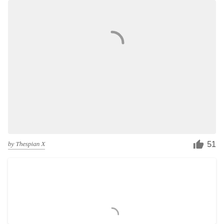[Figure (screenshot): A light gray card with a loading spinner (partial circle arc) centered near the top, indicating content is loading.]
by Thespian X
51
[Figure (screenshot): A white card partially visible at the bottom of the page, with a loading spinner beginning to appear at the bottom center.]